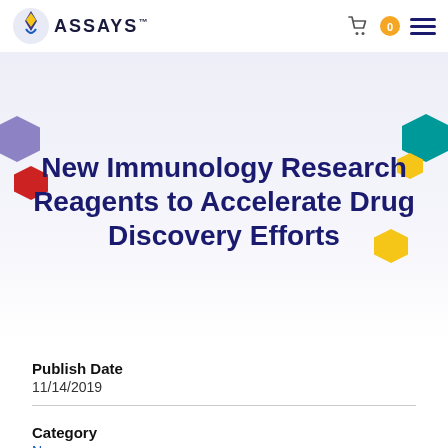ASSAYS
New Immunology Research Reagents to Accelerate Drug Discovery Efforts
Publish Date
11/14/2019
Category
News
Keywords